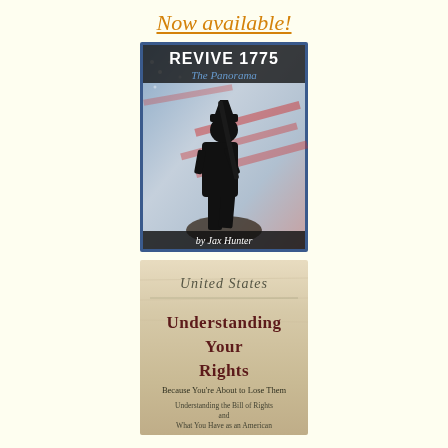Now available!
[Figure (illustration): Book cover for 'REVIVE 1775 The Panorama' by Jax Hunter. Shows a black silhouette of a Revolutionary War soldier holding a rifle against a backdrop of an American flag with red, white and blue colors. Text at top reads 'REVIVE 1775' in bold black, 'The Panorama' in blue below it, and 'by Jax Hunter' at the bottom in white on a dark background. Blue border around the cover.]
[Figure (illustration): Book cover for 'Understanding Your Rights — Because You're About to Lose Them'. Background is a parchment/aged paper texture with 'United States' written in cursive script at the top. Main title 'Understanding Your Rights' in bold dark red/maroon font, followed by subtitle 'Because You're About to Lose Them', and smaller text 'Understanding the Bill of Rights and What You Have as an American'.]